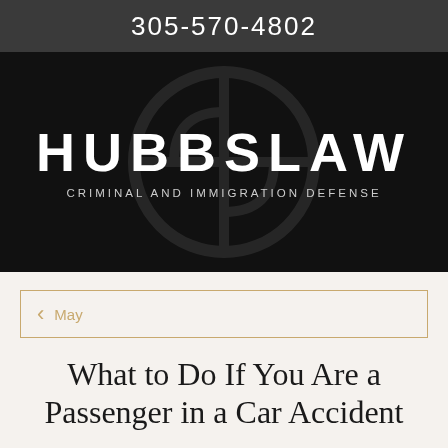305-570-4802
[Figure (logo): HUBBSLAW Criminal and Immigration Defense law firm logo on black background with circular emblem]
< May
What to Do If You Are a Passenger in a Car Accident